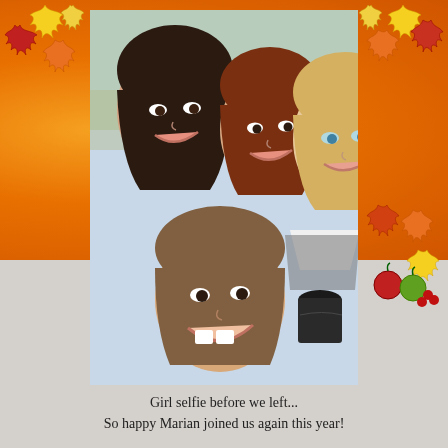[Figure (photo): Autumn-themed photo card showing a selfie of four females (three young women/girls and one adult woman) smiling outdoors. The adult woman holds a takeaway coffee cup. Orange and yellow autumn leaves decorate the background borders. The top half of the page has a warm orange background with autumn leaf decorations in the corners and right side.]
Girl selfie before we left...
So happy Marian joined us again this year!